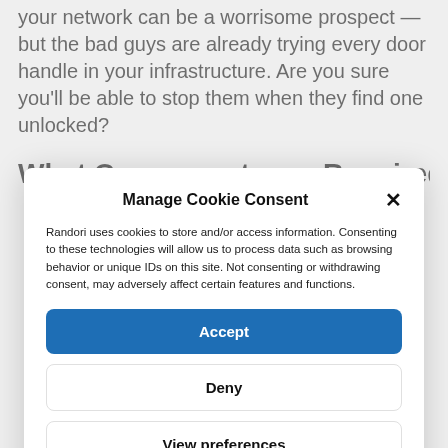your network can be a worrisome prospect — but the bad guys are already trying every door handle in your infrastructure. Are you sure you'll be able to stop them when they find one unlocked?
What Components are Required
Manage Cookie Consent
Randori uses cookies to store and/or access information. Consenting to these technologies will allow us to process data such as browsing behavior or unique IDs on this site. Not consenting or withdrawing consent, may adversely affect certain features and functions.
Accept
Deny
View preferences
Privacy Policy